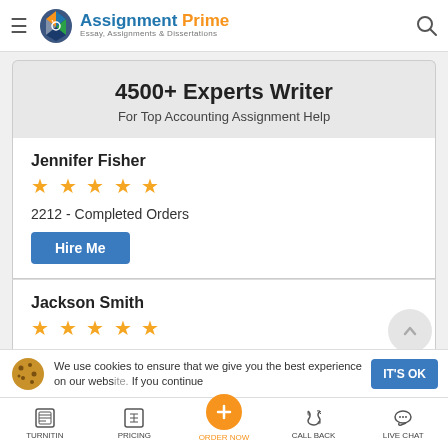Assignment Prime — Essay, Assignments & Dissertations
4500+ Experts Writer
For Top Accounting Assignment Help
Jennifer Fisher
★★★★★
2212 - Completed Orders
Jackson Smith
★★★★★
We use cookies to ensure that we give you the best experience on our website. If you continue
TURNITIN | PRICING | ORDER NOW | CALL BACK | LIVE CHAT